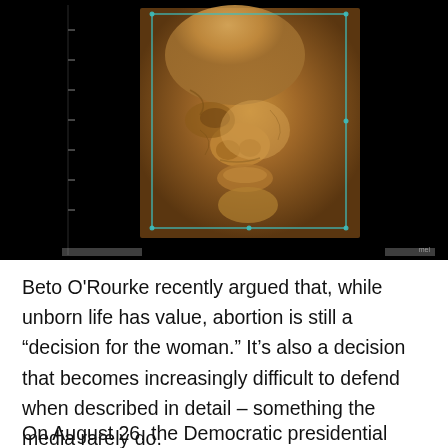[Figure (photo): 3D ultrasound image of a fetus face against a black background, showing detailed facial features including nose, lips, and forehead in warm orange/tan tones, with a teal/green rectangular border outline around the central image area.]
Beto O'Rourke recently argued that, while unborn life has value, abortion is still a “decision for the woman.” It’s also a decision that becomes increasingly difficult to defend when described in detail – something the media rarely do.
On August 26, the Democratic presidential